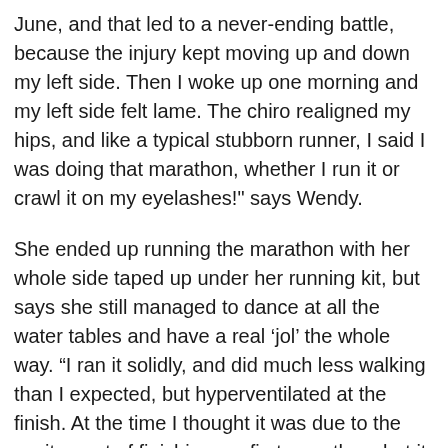June, and that led to a never-ending battle, because the injury kept moving up and down my left side. Then I woke up one morning and my left side felt lame. The chiro realigned my hips, and like a typical stubborn runner, I said I was doing that marathon, whether I run it or crawl it on my eyelashes!" says Wendy.
She ended up running the marathon with her whole side taped up under her running kit, but says she still managed to dance at all the water tables and have a real ‘jol’ the whole way. “I ran it solidly, and did much less walking than I expected, but hyperventilated at the finish. At the time I thought it was due to the excitement of finishing my first marathon, but it turns out it was actually due to too little oxygen.” And things were about to get a lot worse.